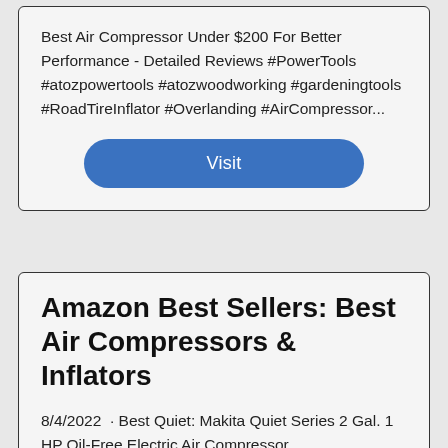Best Air Compressor Under $200 For Better Performance - Detailed Reviews #PowerTools #atozpowertools #atozwoodworking #gardeningtools #RoadTireInflator #Overlanding #AirCompressor...
Visit
Amazon Best Sellers: Best Air Compressors & Inflators
8/4/2022  · Best Quiet: Makita Quiet Series 2 Gal. 1 HP Oil-Free Electric Air Compressor,